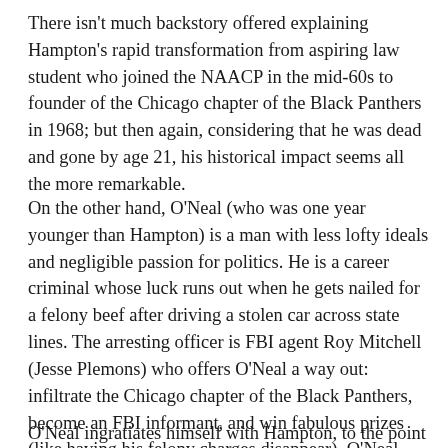There isn't much backstory offered explaining Hampton's rapid transformation from aspiring law student who joined the NAACP in the mid-60s to founder of the Chicago chapter of the Black Panthers in 1968; but then again, considering that he was dead and gone by age 21, his historical impact seems all the more remarkable.
On the other hand, O'Neal (who was one year younger than Hampton) is a man with less lofty ideals and negligible passion for politics. He is a career criminal whose luck runs out when he gets nailed for a felony beef after driving a stolen car across state lines. The arresting officer is FBI agent Roy Mitchell (Jesse Plemons) who offers O'Neal a way out: infiltrate the Chicago chapter of the Black Panthers, become an FBI informant, and win fabulous prizes (like having his felony charges disappear). O'Neal accepts the deal.
O'Neal ingratiates himself with Hampton, to the point where